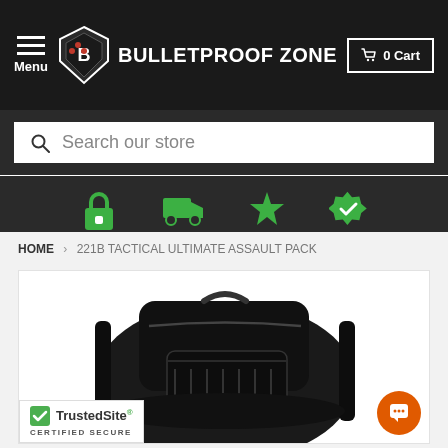Menu  BULLETPROOF ZONE  0 Cart
Search our store
[Figure (screenshot): Row of four green icons: padlock, delivery truck, star, verified badge]
HOME › 221B TACTICAL ULTIMATE ASSAULT PACK
[Figure (photo): Black tactical backpack with MOLLE webbing and multiple compartments shown against white background]